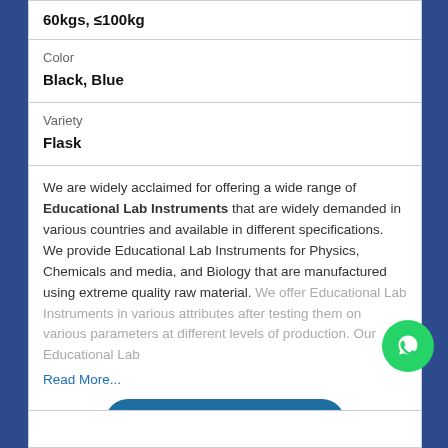60kgs, ≤100kg
Color
Black, Blue
Variety
Flask
We are widely acclaimed for offering a wide range of Educational Lab Instruments that are widely demanded in various countries and available in different specifications. We provide Educational Lab Instruments for Physics, Chemicals and media, and Biology that are manufactured using extreme quality raw material. We offer Educational Lab Instruments in various attributes after testing them on various parameters at different levels of production. Our Educational Lab
Read More...
Yes! I am interested